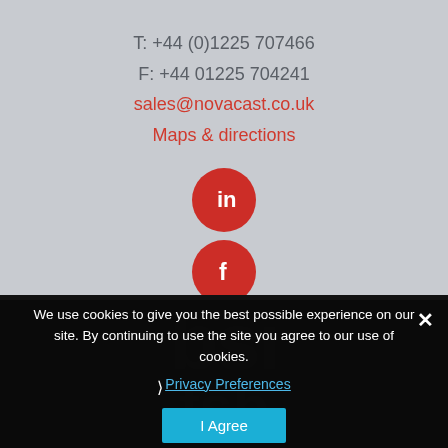T: +44 (0)1225 707466
F: +44 01225 704241
sales@novacast.co.uk
Maps & directions
[Figure (illustration): LinkedIn red circle icon with white 'in' text]
[Figure (illustration): Facebook red circle icon with white 'f' text]
[Figure (illustration): BSI and FSB logos displayed on dark background]
We use cookies to give you the best possible experience on our site. By continuing to use the site you agree to our use of cookies.
Privacy Preferences
I Agree